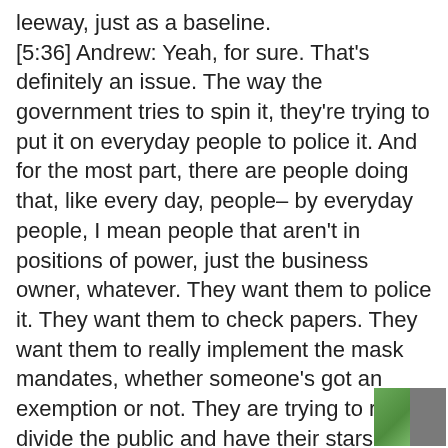leeway, just as a baseline. [5:36] Andrew: Yeah, for sure. That's definitely an issue. The way the government tries to spin it, they're trying to put it on everyday people to police it. And for the most part, there are people doing that, like every day, people– by everyday people, I mean people that aren't in positions of power, just the business owner, whatever. They want them to police it. They want them to check papers. They want them to really implement the mask mandates, whether someone's got an exemption or not. They are trying to really divide the public and have their stars out in the community doing it. And that's what's happening. There's a minority probably, 10% of the population maybe for a rough estimate that are buying into it. They're telling on their neighbors. There was a portion during the Melbourne lockdowns you couldn't have visitors for like eighteen months. You could have four
[Figure (photo): Small thumbnail image in bottom right corner showing a green outdoor/nature scene on the left half and a gray area on the right half.]